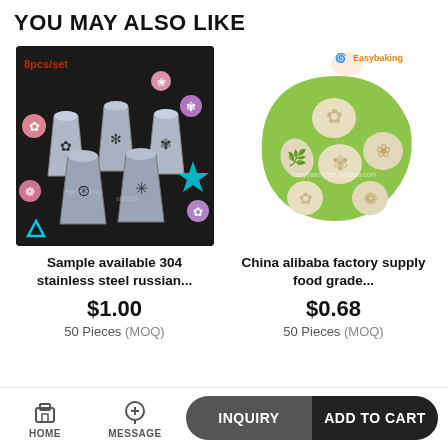YOU MAY ALSO LIKE
[Figure (photo): 8pcs/set stainless steel Russian piping tips on dark background with colorful flower frosting examples]
Sample available 304 stainless steel russian...
$1.00
50 Pieces (MOQ)
[Figure (photo): Easybaking brand green silicone flower mold with 7 flower/leaf shaped cavities showing cream-colored casts]
China alibaba factory supply food grade...
$0.68
50 Pieces (MOQ)
HOME  MESSAGE  INQUIRY  ADD TO CART